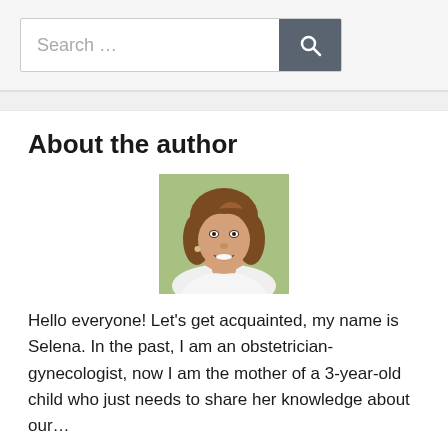Search …
About the author
[Figure (photo): Portrait photo of a smiling woman with long brown hair, wearing a white top, outdoors with green background.]
Hello everyone! Let's get acquainted, my name is Selena. In the past, I am an obstetrician-gynecologist, now I am the mother of a 3-year-old child who just needs to share her knowledge about our…